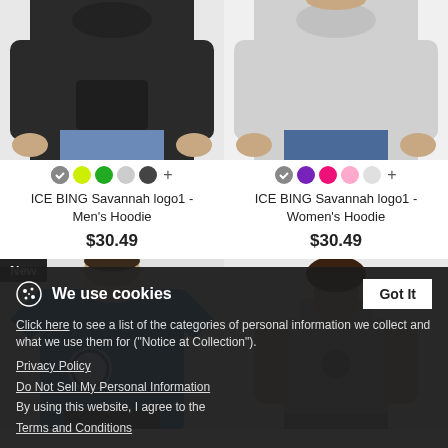[Figure (photo): Man wearing dark charcoal/black pullover hoodie, product photo]
[Figure (photo): Man wearing light grey pullover hoodie, product photo]
ICE BING Savannah logo1 - Men's Hoodie
$30.49
ICE BING Savannah logo1 - Women's Hoodie
$30.49
[Figure (photo): Man wearing teal t-shirt with logo, New badge shown]
[Figure (photo): Woman wearing grey tank top]
We use cookies
Click here to see a list of the categories of personal information we collect and what we use them for ("Notice at Collection").
Privacy Policy
Do Not Sell My Personal Information
By using this website, I agree to the Terms and Conditions